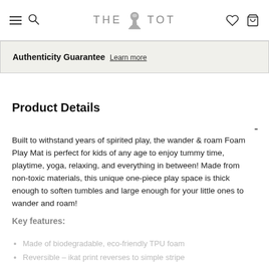THE TOT — navigation header with hamburger menu, search, wishlist, and cart icons
Authenticity Guarantee Learn more
Product Details
Built to withstand years of spirited play, the wander & roam Foam Play Mat is perfect for kids of any age to enjoy tummy time, playtime, yoga, relaxing, and everything in between! Made from non-toxic materials, this unique one-piece play space is thick enough to soften tumbles and large enough for your little ones to wander and roam!
Key features:
Made of biodegradable, eco-friendly TPU foam
Reversible – ikat print reverses to simple stripe